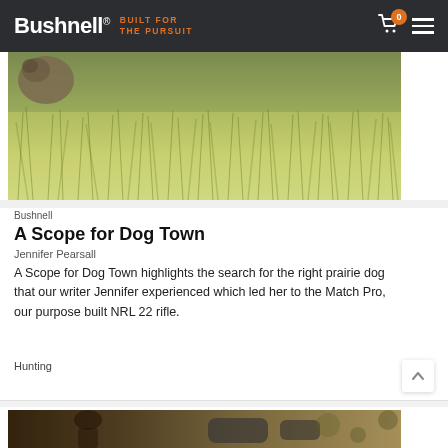Bushnell® — BUILT FOR THE PURSUIT
[Figure (photo): Close-up photo of green grass/prairie vegetation with a partial view of a small animal, serving as the hero image for the article 'A Scope for Dog Town']
Bushnell
A Scope for Dog Town
Jennifer Pearsall
A Scope for Dog Town highlights the search for the right prairie dog that our writer Jennifer experienced which led her to the Match Pro, our purpose built NRL 22 rifle.
Hunting
[Figure (photo): Partial view of a second article card showing a person outdoors with binoculars/optics equipment, partially visible at the bottom of the page]